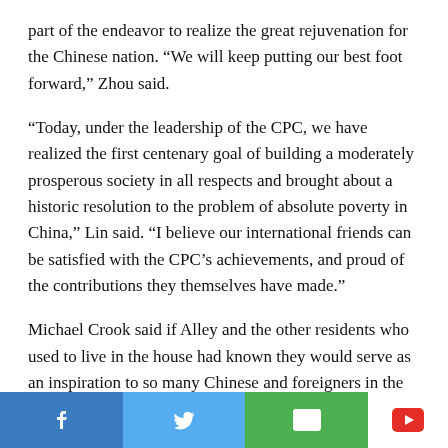part of the endeavor to realize the great rejuvenation for the Chinese nation. “We will keep putting our best foot forward,” Zhou said.
“Today, under the leadership of the CPC, we have realized the first centenary goal of building a moderately prosperous society in all respects and brought about a historic resolution to the problem of absolute poverty in China,” Lin said. “I believe our international friends can be satisfied with the CPC’s achievements, and proud of the contributions they themselves have made.”
Michael Crook said if Alley and the other residents who used to live in the house had known they would serve as an inspiration to so many Chinese and foreigners in the pursuit of peace and
[Figure (other): Social media share bar at bottom with Facebook (blue), Twitter (light blue), Email (green), and YouTube (white with red icon) buttons]